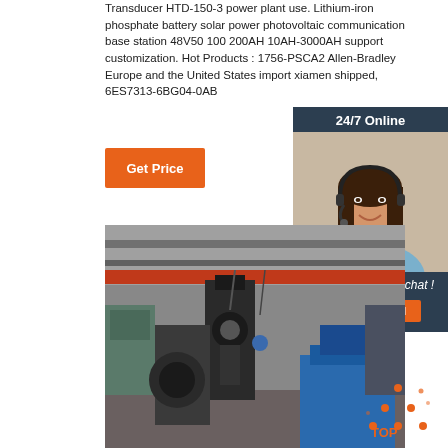Transducer HTD-150-3 power plant use. Lithium-iron phosphate battery solar power photovoltaic communication base station 48V50 100 200AH 10AH-3000AH support customization. Hot Products : 1756-PSCA2 Allen-Bradley Europe and the United States import xiamen shipped, 6ES7313-6BG04-0AB
[Figure (other): Orange 'Get Price' button]
[Figure (other): 24/7 Online chat widget with a customer service representative photo and QUOTATION button]
[Figure (photo): Factory interior showing industrial machinery and equipment including a robotic arm and blue hydraulic press]
[Figure (other): TOP badge with orange dots arranged in triangle shape]